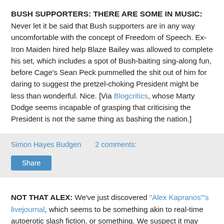BUSH SUPPORTERS: THERE ARE SOME IN MUSIC:
Never let it be said that Bush supporters are in any way uncomfortable with the concept of Freedom of Speech. Ex-Iron Maiden hired help Blaze Bailey was allowed to complete his set, which includes a spot of Bush-baiting sing-along fun, before Cage's Sean Peck pummelled the shit out of him for daring to suggest the pretzel-choking President might be less than wonderful. Nice. [Via Blogcritics, whose Marty Dodge seems incapable of grasping that criticising the President is not the same thing as bashing the nation.]
Simon Hayes Budgen   2 comments:
Share
NOT THAT ALEX: We've just discovered "Alex Kapranos"'s livejournal, which seems to be something akin to real-time autoerotic slash fiction, or something. We suspect it may